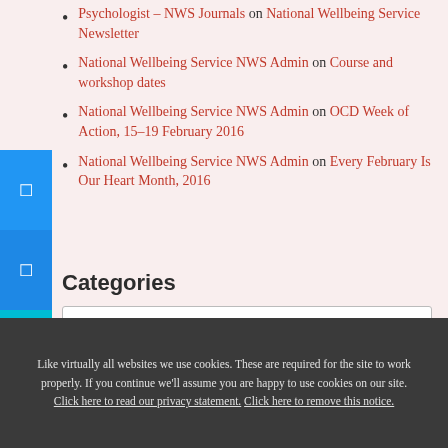Psychologist – NWS Journals on National Wellbeing Service Newsletter
National Wellbeing Service NWS Admin on Course and workshop dates
National Wellbeing Service NWS Admin on OCD Week of Action, 15–19 February 2016
National Wellbeing Service NWS Admin on Every February Is Our Heart Month, 2016
Categories
Select Category
Like virtually all websites we use cookies. These are required for the site to work properly. If you continue we'll assume you are happy to use cookies on our site. Click here to read our privacy statement. Click here to remove this notice.